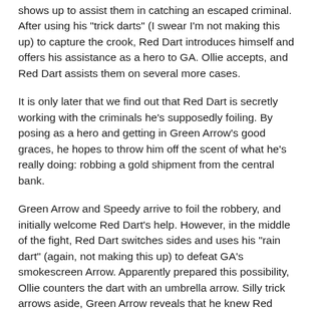shows up to assist them in catching an escaped criminal. After using his "trick darts" (I swear I'm not making this up) to capture the crook, Red Dart introduces himself and offers his assistance as a hero to GA. Ollie accepts, and Red Dart assists them on several more cases.
It is only later that we find out that Red Dart is secretly working with the criminals he's supposedly foiling. By posing as a hero and getting in Green Arrow's good graces, he hopes to throw him off the scent of what he's really doing: robbing a gold shipment from the central bank.
Green Arrow and Speedy arrive to foil the robbery, and initially welcome Red Dart's help. However, in the middle of the fight, Red Dart switches sides and uses his "rain dart" (again, not making this up) to defeat GA's smokescreen Arrow. Apparently prepared this possibility, Ollie counters the dart with an umbrella arrow. Silly trick arrows aside, Green Arrow reveals that he knew Red Dart was on the side of evil all along, due to hi use of prison lingo and presence of gold assaying chemicals on his hands.